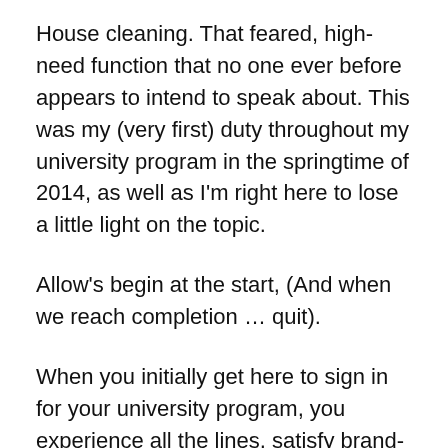House cleaning. That feared, high-need function that no one ever before appears to intend to speak about. This was my (very first) duty throughout my university program in the springtime of 2014, as well as I'm right here to lose a little light on the topic.
Allow's begin at the start, (And when we reach completion … quit).
When you initially get here to sign in for your university program, you experience all the lines, satisfy brand-new individuals, as well as obtain your routine for spreading, practices, and also your real estate conference. If your function is Housekeeping, you will certainly likewise obtain an invite to "housekeeping city center" which will